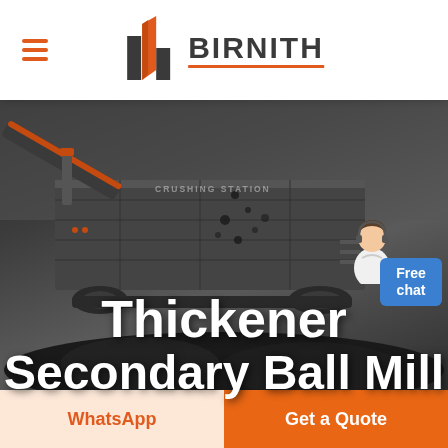BIRNITH
[Figure (screenshot): Industrial crushing station machinery with dark background. Mobile crushing equipment shown with conveyor and rock pile. Text 'CRUSHING STATION' visible on machinery.]
Thickener Secondary Ball Mill
Free chat
WhatsApp
Get a Quote